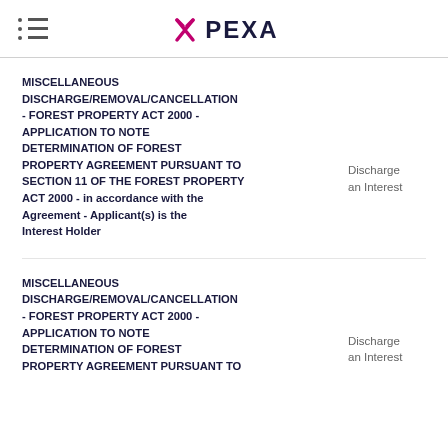PEXA
MISCELLANEOUS DISCHARGE/REMOVAL/CANCELLATION - FOREST PROPERTY ACT 2000 - APPLICATION TO NOTE DETERMINATION OF FOREST PROPERTY AGREEMENT PURSUANT TO SECTION 11 OF THE FOREST PROPERTY ACT 2000 - in accordance with the Agreement - Applicant(s) is the Interest Holder | Discharge an Interest
MISCELLANEOUS DISCHARGE/REMOVAL/CANCELLATION - FOREST PROPERTY ACT 2000 - APPLICATION TO NOTE DETERMINATION OF FOREST PROPERTY AGREEMENT PURSUANT TO | Discharge an Interest